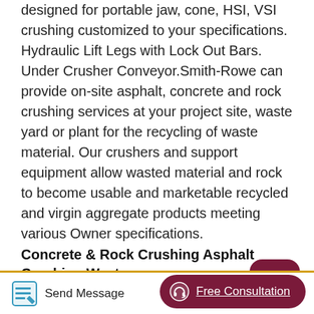designed for portable jaw, cone, HSI, VSI crushing customized to your specifications. Hydraulic Lift Legs with Lock Out Bars. Under Crusher Conveyor.Smith-Rowe can provide on-site asphalt, concrete and rock crushing services at your project site, waste yard or plant for the recycling of waste material. Our crushers and support equipment allow wasted material and rock to become usable and marketable recycled and virgin aggregate products meeting various Owner specifications.
Concrete & Rock Crushing Asphalt Crushing Waste
Mobile crusher,also known as mobile stone crusher plant. It is used in quarry for rock crushing.